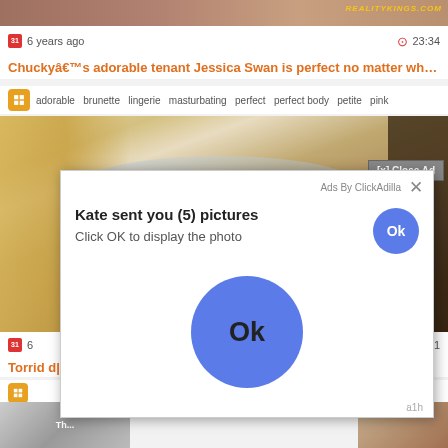[Figure (screenshot): Top partial thumbnail image with realitykings.com logo watermark]
6 years ago   23:34
Chuckyâ€™s adorable tenant Jessica Swan is perfect no matter what ...
adorable  brunette  lingerie  masturbating  perfect  perfect body  petite  pink
[Figure (photo): Close-up photo of a blonde woman's face with blue eyes]
[x] Close Ad
[Figure (screenshot): Ad overlay modal: Kate sent you (5) pictures. Click OK to display the photo. Large blue Ok circle button. Ads By ClickAdilla label.]
Ads By ClickAdilla
Kate sent you (5) pictures
Click OK to display the photo
Ok
Ok
a1h
6   20:21
Torrid   d|lo...